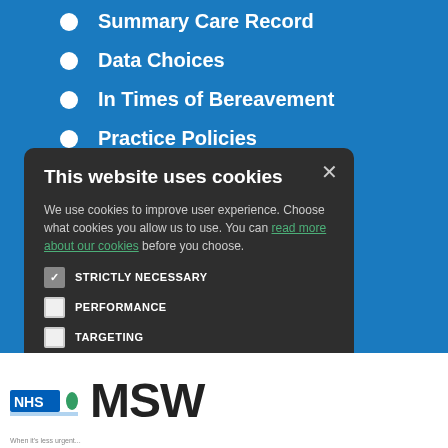Summary Care Record
Data Choices
In Times of Bereavement
Practice Policies
This website uses cookies
We use cookies to improve user experience. Choose what cookies you allow us to use. You can read more about our cookies before you choose.
STRICTLY NECESSARY
PERFORMANCE
TARGETING
FUNCTIONALITY
ACCEPT ALL
DECLINE ALL
[Figure (logo): NHS and MSW logos at bottom of page]